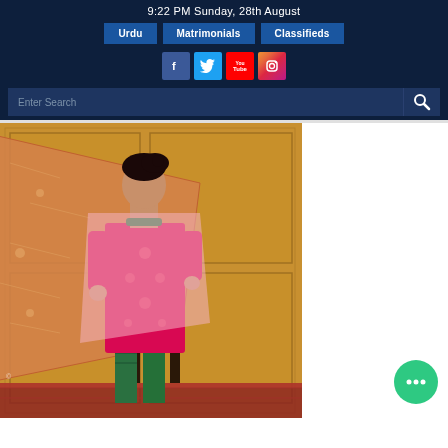9:22 PM Sunday, 28th August
Urdu | Matrimonials | Classifieds
[Figure (screenshot): Navigation header with Urdu, Matrimonials, Classifieds buttons and social media icons (Facebook, Twitter, YouTube, Instagram), plus a search bar]
[Figure (photo): A woman in traditional South Asian bridal attire — a vibrant pink/magenta embroidered suit with a flowing orange-pink dupatta spread out to the left, green embroidered pajamas, and green jewelry, standing in front of a golden wood-paneled wall beside a dark wooden bar stool, on a patterned rug]